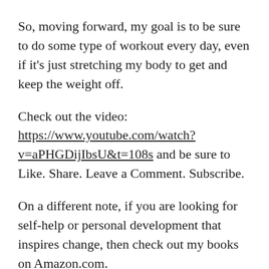So, moving forward, my goal is to be sure to do some type of workout every day, even if it’s just stretching my body to get and keep the weight off.
Check out the video: https://www.youtube.com/watch?v=aPHGDijIbsU&t=108s and be sure to Like. Share. Leave a Comment. Subscribe.
On a different note, if you are looking for self-help or personal development that inspires change, then check out my books on Amazon.com.
Cracks in the Pavement Struggles of Butterflies and, Cracks in the Pavement 2: Butterfly Effects are self-